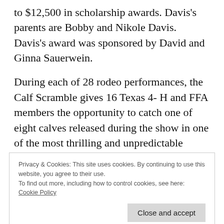to $12,500 in scholarship awards. Davis's parents are Bobby and Nikole Davis. Davis's award was sponsored by David and Ginna Sauerwein.
During each of 28 rodeo performances, the Calf Scramble gives 16 Texas 4- H and FFA members the opportunity to catch one of eight calves released during the show in one of the most thrilling and unpredictable events. Justin Boots and Texas Mutual Insurance Company are long-time supporters of the Calf Scramble. Participants
Privacy & Cookies: This site uses cookies. By continuing to use this website, you agree to their use.
To find out more, including how to control cookies, see here: Cookie Policy
awards range from $500 to $12,500, to